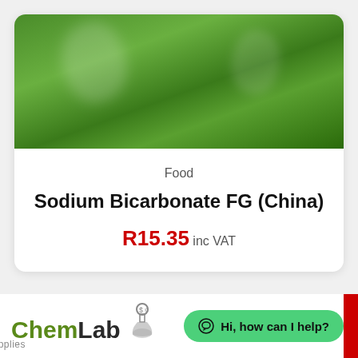[Figure (photo): Green blurred background image, product photo background for Sodium Bicarbonate FG (China)]
Food
Sodium Bicarbonate FG (China)
R15.35 inc VAT
[Figure (logo): ChemLab Supplies logo with green and dark text and flask icon]
Hi, how can I help?